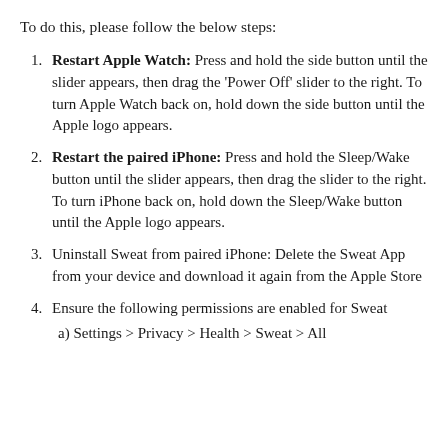To do this, please follow the below steps:
Restart Apple Watch: Press and hold the side button until the slider appears, then drag the 'Power Off' slider to the right. To turn Apple Watch back on, hold down the side button until the Apple logo appears.
Restart the paired iPhone: Press and hold the Sleep/Wake button until the slider appears, then drag the slider to the right. To turn iPhone back on, hold down the Sleep/Wake button until the Apple logo appears.
Uninstall Sweat from paired iPhone: Delete the Sweat App from your device and download it again from the Apple Store
Ensure the following permissions are enabled for Sweat
a) Settings > Privacy > Health > Sweat > All